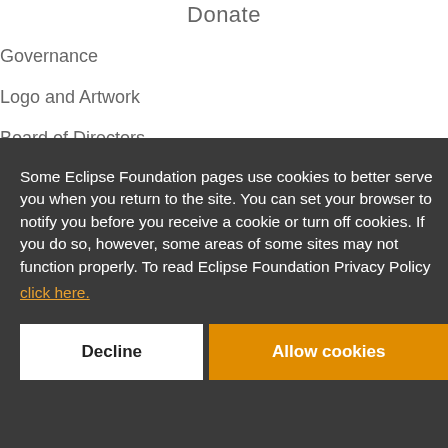Donate
Governance
Logo and Artwork
Board of Directors
Some Eclipse Foundation pages use cookies to better serve you when you return to the site. You can set your browser to notify you before you receive a cookie or turn off cookies. If you do so, however, some areas of some sites may not function properly. To read Eclipse Foundation Privacy Policy click here.
Decline
Allow cookies